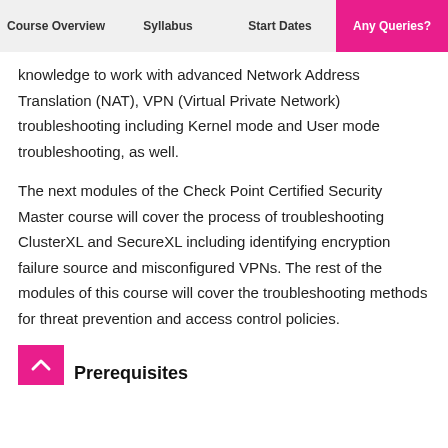Course Overview | Syllabus | Start Dates | Any Queries?
knowledge to work with advanced Network Address Translation (NAT), VPN (Virtual Private Network) troubleshooting including Kernel mode and User mode troubleshooting, as well.
The next modules of the Check Point Certified Security Master course will cover the process of troubleshooting ClusterXL and SecureXL including identifying encryption failure source and misconfigured VPNs. The rest of the modules of this course will cover the troubleshooting methods for threat prevention and access control policies.
Prerequisites